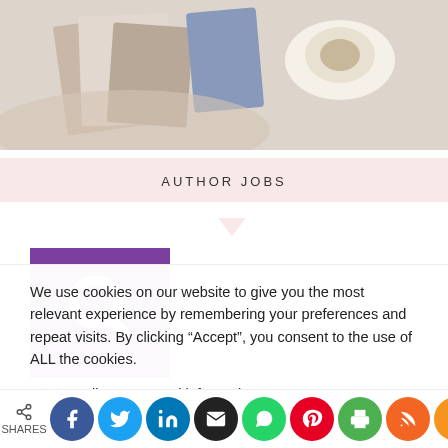[Figure (photo): Top portion of a lifestyle/blog image showing books, magazines, and a coffee cup on a light background]
AUTHOR JOBS
[Figure (logo): Purple square with a white Q magnifying glass logo (Quora or similar search brand)]
We use cookies on our website to give you the most relevant experience by remembering your preferences and repeat visits. By clicking “Accept”, you consent to the use of ALL the cookies.
Do not sell my personal information.
Cookie Settings   Accept
SHARES (social share bar with Facebook, Twitter, LinkedIn, Email, WhatsApp, Pinterest, Print, RSS, Plus buttons)